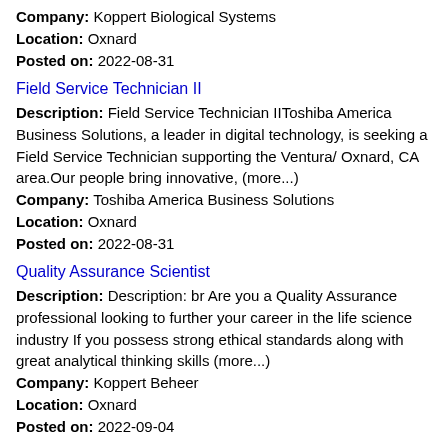Company: Koppert Biological Systems
Location: Oxnard
Posted on: 2022-08-31
Field Service Technician II
Description: Field Service Technician IIToshiba America Business Solutions, a leader in digital technology, is seeking a Field Service Technician supporting the Ventura/ Oxnard, CA area.Our people bring innovative, (more...)
Company: Toshiba America Business Solutions
Location: Oxnard
Posted on: 2022-08-31
Quality Assurance Scientist
Description: Description: br Are you a Quality Assurance professional looking to further your career in the life science industry If you possess strong ethical standards along with great analytical thinking skills (more...)
Company: Koppert Beheer
Location: Oxnard
Posted on: 2022-09-04
PATIENT REGISTRATION REP
Description: Overview St. John's Regional Medical Center located in Oxnard California is a recognized as a Top 250 Hospital in the Nation and as one of America's 100 Best Hospitals for Cardiac Care by Healthgrades. (more...)